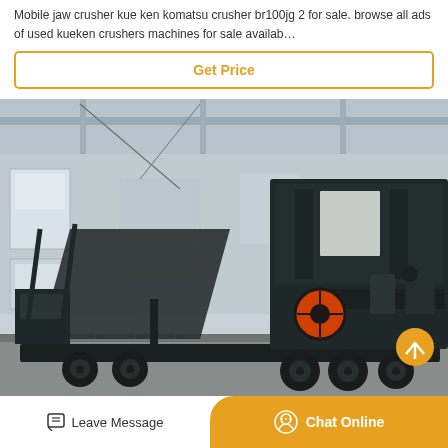Mobile jaw crusher kue ken komatsu crusher br100jg 2 for sale. browse all ads of used kueken crushers machines for sale availab…
[Figure (other): Button/link labeled 'Get Price' with orange border on white background]
[Figure (photo): Industrial mobile jaw crusher machine on a trailer/flatbed inside a large warehouse/factory building. The machine is large and black, with conveyor belts visible. Industrial setting with concrete walls and overhead cranes visible in background.]
Leave Message
Chat Online